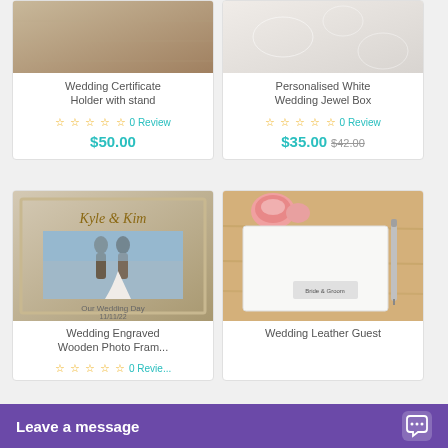[Figure (photo): Product image of Wedding Certificate Holder with stand]
Wedding Certificate Holder with stand
☆ ☆ ☆ ☆ ☆  0 Review
$50.00
[Figure (photo): Product image of Personalised White Wedding Jewel Box]
Personalised White Wedding Jewel Box
☆ ☆ ☆ ☆ ☆  0 Review
$35.00  $42.00
[Figure (photo): Product image of Wedding Engraved Wooden Photo Frame personalized with Kyle & Kim, Our Wedding Day 11/11/22]
Wedding Engraved Wooden Photo Fram...
☆ ☆ ☆ ☆ ☆  0 Revie...
[Figure (photo): Product image of Wedding Leather Guest book on wooden table with roses]
Wedding Leather Guest...
Leave a message